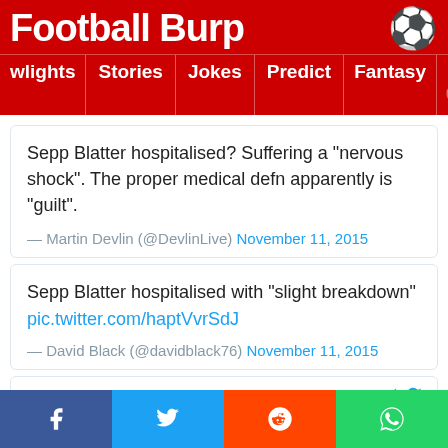Football Burp
wlights | Stories | Jokes | Predict | Fantasy
Sepp Blatter hospitalised? Suffering a "nervous shock". The proper medical defn apparently is "guilt".
— Martin Devlin (@DevlinLive) November 11, 2015
Sepp Blatter hospitalised with "slight breakdown" pic.twitter.com/haptVvrSdJ
— David Black (@davidblack76) November 11, 2015
Helen Walmsley-J @TheVintageYear · Follow